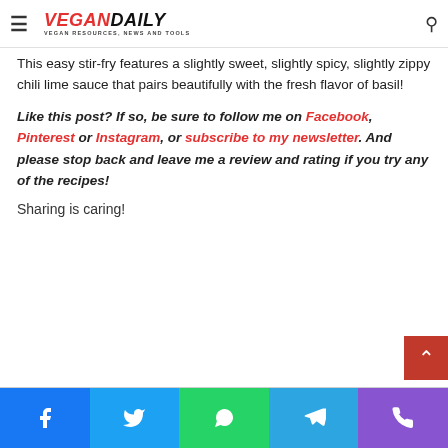VEGANDAILY — VEGAN RESOURCES, NEWS AND TOOLS
This easy stir-fry features a slightly sweet, slightly spicy, slightly zippy chili lime sauce that pairs beautifully with the fresh flavor of basil!
Like this post? If so, be sure to follow me on Facebook, Pinterest or Instagram, or subscribe to my newsletter. And please stop back and leave me a review and rating if you try any of the recipes!
Sharing is caring!